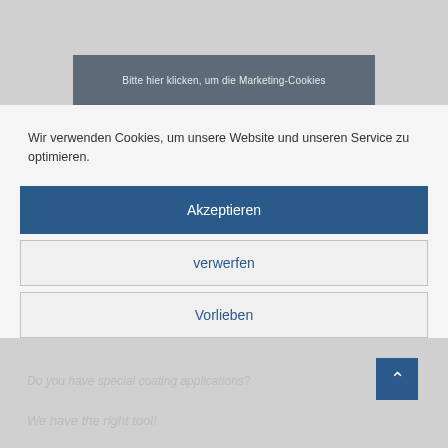[Figure (screenshot): Background website content showing a dimmed/blurred product or industrial image bar with German text 'Bitte hier klicken, um die Marketing-Cookies...' partially visible at top]
Wir verwenden Cookies, um unsere Website und unseren Service zu optimieren.
Akzeptieren
verwerfen
Vorlieben
Privacy policy   Imprint
[Figure (screenshot): Background website footer area showing gray text 'Do you have special coating applications?' and 'We have the right tool!' with a blue scroll-to-top arrow button]